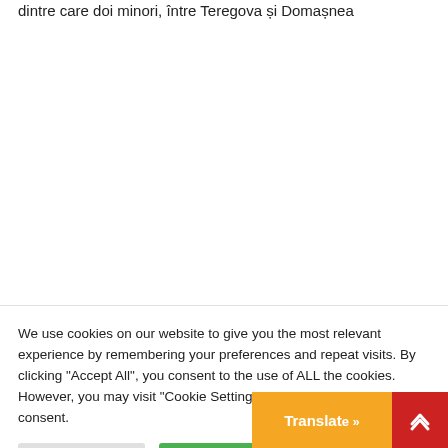dintre care doi minori, între Teregova și Domașnea
[Figure (other): Pagination bar with buttons: Anterior, 1, 2, 3 (active/red), 4, 5]
We use cookies on our website to give you the most relevant experience by remembering your preferences and repeat visits. By clicking "Accept All", you consent to the use of ALL the cookies. However, you may visit "Cookie Settings" to provide a controlled consent.
Cookie Settings | Accept All